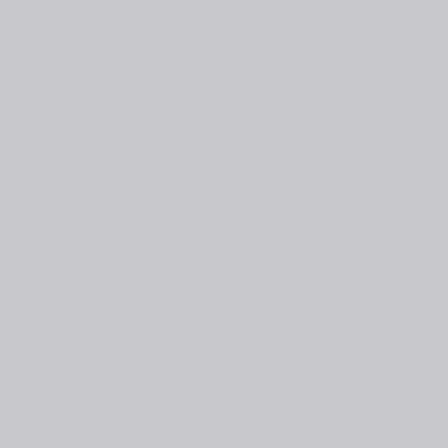Ho wa an od co of re an lo ro ha an ye do Th gi ha str ru